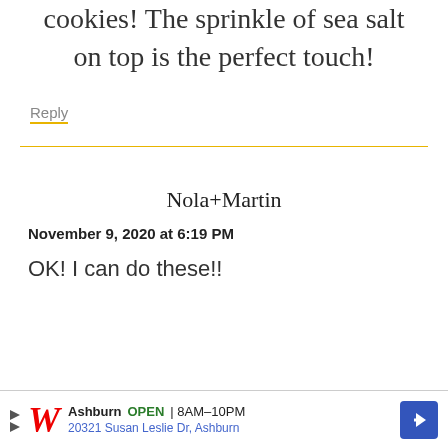cookies! The sprinkle of sea salt on top is the perfect touch!
Reply
Nola+Martin
November 9, 2020 at 6:19 PM
OK! I can do these!!
[Figure (other): Walgreens advertisement banner: Ashburn OPEN 8AM-10PM, 20321 Susan Leslie Dr, Ashburn]